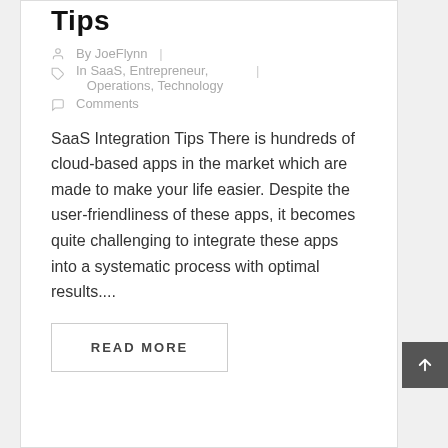Tips
By JoeFlynn |
In SaaS, Entrepreneur, | Operations, Technology
Comments
SaaS Integration Tips There is hundreds of cloud-based apps in the market which are made to make your life easier. Despite the user-friendliness of these apps, it becomes quite challenging to integrate these apps into a systematic process with optimal results....
READ MORE